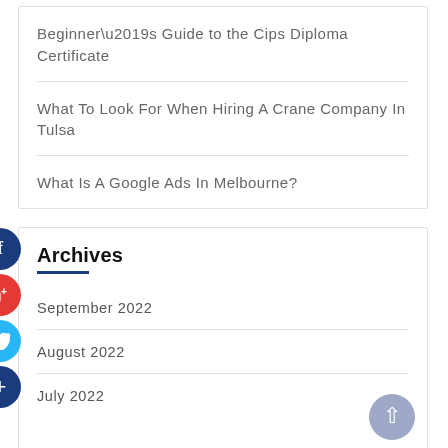Beginner’s Guide to the Cips Diploma Certificate
What To Look For When Hiring A Crane Company In Tulsa
What Is A Google Ads In Melbourne?
Archives
September 2022
August 2022
July 2022